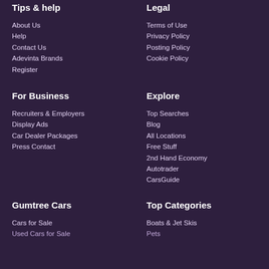Tips & help
About Us
Help
Contact Us
Adevinta Brands
Register
Legal
Terms of Use
Privacy Policy
Posting Policy
Cookie Policy
For Business
Recruiters & Employers
Display Ads
Car Dealer Packages
Press Contact
Explore
Top Searches
Blog
All Locations
Free Stuff
2nd Hand Economy
Autotrader
CarsGuide
Gumtree Cars
Cars for Sale
Used Cars for Sale
Top Categories
Boats & Jet Skis
Pets